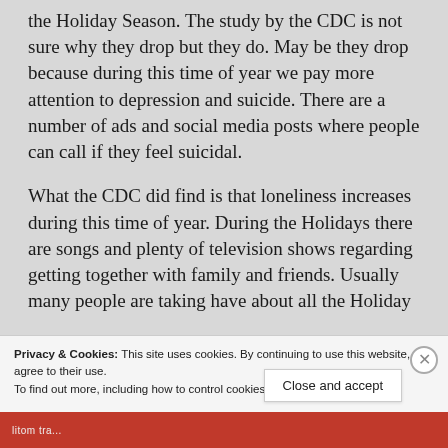the Holiday Season. The study by the CDC is not sure why they drop but they do. May be they drop because during this time of year we pay more attention to depression and suicide. There are a number of ads and social media posts where people can call if they feel suicidal.
What the CDC did find is that loneliness increases during this time of year. During the Holidays there are songs and plenty of television shows regarding getting together with family and friends. Usually many people are taking have about all the Holiday
Privacy & Cookies: This site uses cookies. By continuing to use this website, you agree to their use.
To find out more, including how to control cookies, see here: Cookie Policy
Close and accept